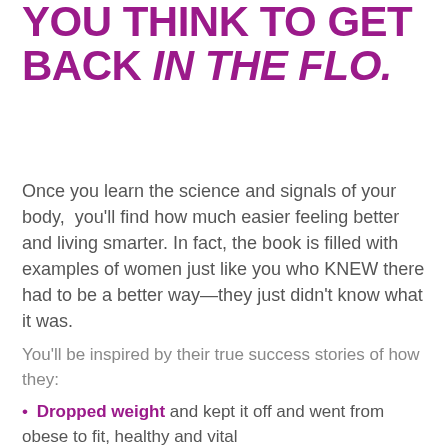YOU THINK TO GET BACK IN THE FLO.
Once you learn the science and signals of your body, you'll find how much easier feeling better and living smarter. In fact, the book is filled with examples of women just like you who KNEW there had to be a better way—they just didn't know what it was.
You'll be inspired by their true success stories of how they:
Dropped weight and kept it off and went from obese to fit, healthy and vital